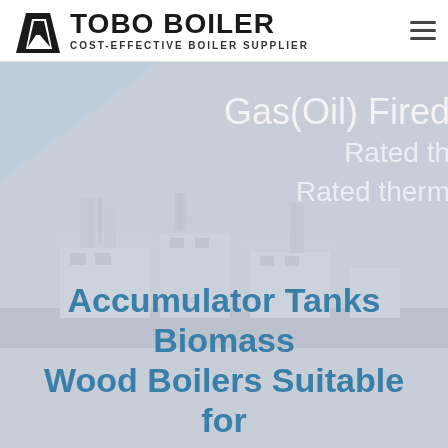TOBO BOILER — COST-EFFECTIVE BOILER SUPPLIER
[Figure (screenshot): Hero banner with boiler plant background image, partial text 'Gas(Oil) Fired', 'Rated th...', 'Rated therm...' overlaid on gray background]
Accumulator Tanks Biomass Wood Boilers Suitable for